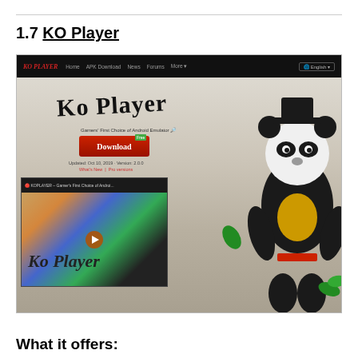1.7 KO Player
[Figure (screenshot): Screenshot of the KO Player website homepage showing navigation bar, KO Player logo/title, a red Download button, version info, a video thumbnail showing app icons in a box, and a decorative panda warrior character on the right side.]
What it offers: